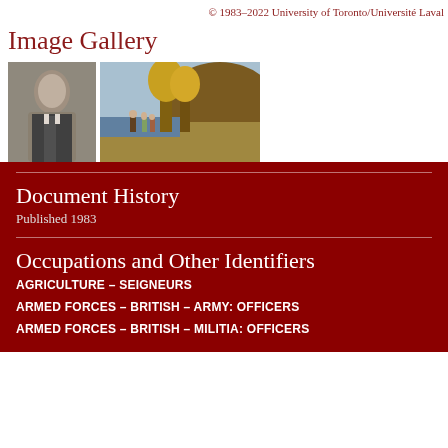© 1983–2022 University of Toronto/Université Laval
Image Gallery
[Figure (photo): Black and white portrait of a military officer in uniform]
[Figure (illustration): Historical painting showing figures in a landscape near water with hills]
Document History
Published 1983
Occupations and Other Identifiers
AGRICULTURE – SEIGNEURS
ARMED FORCES – BRITISH – ARMY: OFFICERS
ARMED FORCES – BRITISH – MILITIA: OFFICERS